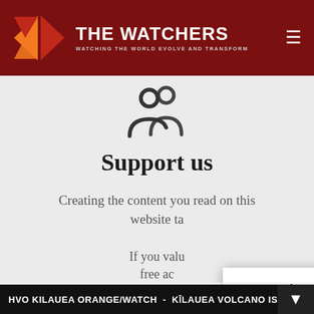[Figure (logo): The Watchers logo with red geometric shapes and white text reading THE WATCHERS, subtext WATCHING THE WORLD EVOLVE AND TRANSFORM]
[Figure (illustration): People/group icon in dark gray outline style]
Support us
Creating the content you read on this website ta…
If you valu… free ac…
We use cookies on our website to give you the most relevant experience by remembering your preferences and repeat visits. By clicking “Accept”, you consent to the use of ALL the cookies.
Do not sell my personal information.
Cookie settings
Accept
HVO KILAUEA ORANGE/WATCH - KILAUEA VOLCANO IS E